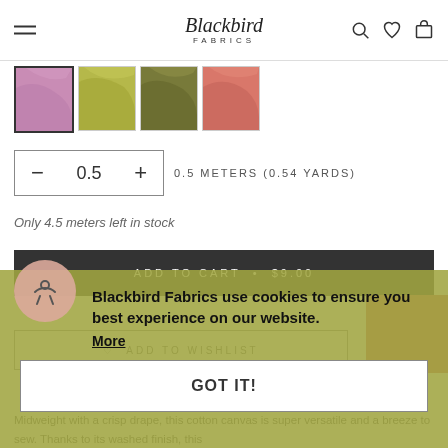Blackbird Fabrics — navigation header with hamburger menu, logo, search, wishlist, and cart icons
[Figure (photo): Four fabric color swatches: purple/mauve, yellow-green/chartreuse, olive green, and coral/salmon pink, shown as folded fabric thumbnails. The purple swatch is selected (outlined).]
0.5   0.5 METERS (0.54 YARDS)
Only 4.5 meters left in stock
ADD TO CART • $9.00
Blackbird Fabrics use cookies to ensure you best experience on our website.
More
GOT IT!
ADD TO WISHLIST
Midweight with a crisp drape, this cotton canvas is super versatile and a breeze to sew. Thanks to its washed finish, this